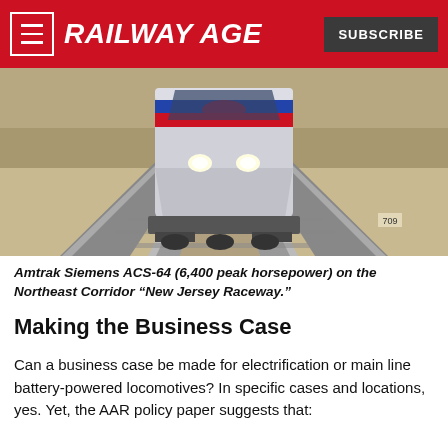RAILWAY AGE | SUBSCRIBE
[Figure (photo): Amtrak Siemens ACS-64 locomotive on the Northeast Corridor tracks, front-facing view on multiple parallel rail lines with gravel ballast]
Amtrak Siemens ACS-64 (6,400 peak horsepower) on the Northeast Corridor “New Jersey Raceway.”
Making the Business Case
Can a business case be made for electrification or main line battery-powered locomotives? In specific cases and locations, yes. Yet, the AAR policy paper suggests that: